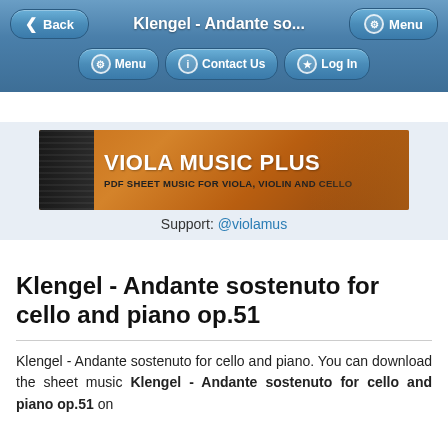Back | Klengel - Andante so... | Menu
Menu | Contact Us | Log In
[Figure (illustration): Viola Music Plus advertisement banner: orange/brown background with violin image on left, white text 'VIOLA MUSIC PLUS' and 'PDF SHEET MUSIC FOR VIOLA, VIOLIN AND CELLO']
Support: @violamus
Klengel - Andante sostenuto for cello and piano op.51
Klengel - Andante sostenuto for cello and piano. You can download the sheet music Klengel - Andante sostenuto for cello and piano op.51 on